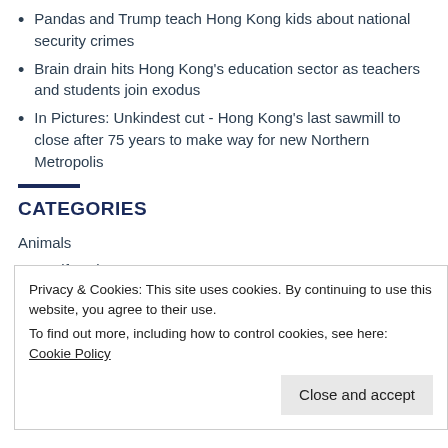Pandas and Trump teach Hong Kong kids about national security crimes
Brain drain hits Hong Kong's education sector as teachers and students join exodus
In Pictures: Unkindest cut - Hong Kong's last sawmill to close after 75 years to make way for new Northern Metropolis
CATEGORIES
Animals
Arts, Lifestyle & Events
Privacy & Cookies: This site uses cookies. By continuing to use this website, you agree to their use.
To find out more, including how to control cookies, see here: Cookie Policy
Close and accept